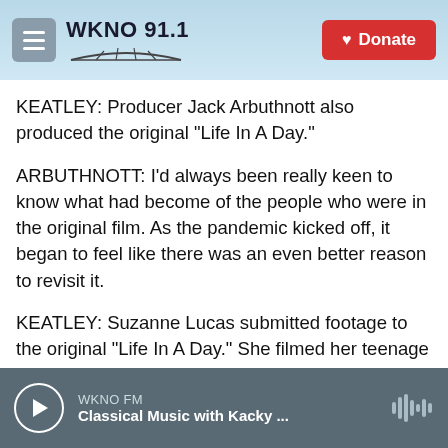WKNO 91.1 | Donate
KEATLEY: Producer Jack Arbuthnott also produced the original "Life In A Day."
ARBUTHNOTT: I'd always been really keen to know what had become of the people who were in the original film. As the pandemic kicked off, it began to feel like there was an even better reason to revisit it.
KEATLEY: Suzanne Lucas submitted footage to the original "Life In A Day." She filmed her teenage son Alexander not quite wanting to get out of bed. In 2020, Suzanne rolls the camera while watching her
WKNO FM | Classical Music with Kacky ...